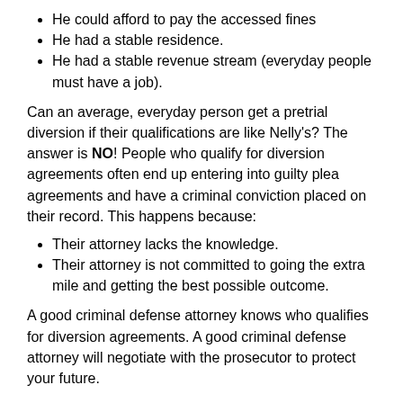He could afford to pay the accessed fines
He had a stable residence.
He had a stable revenue stream (everyday people must have a job).
Can an average, everyday person get a pretrial diversion if their qualifications are like Nelly's? The answer is NO! People who qualify for diversion agreements often end up entering into guilty plea agreements and have a criminal conviction placed on their record. This happens because:
Their attorney lacks the knowledge.
Their attorney is not committed to going the extra mile and getting the best possible outcome.
A good criminal defense attorney knows who qualifies for diversion agreements. A good criminal defense attorney will negotiate with the prosecutor to protect your future.